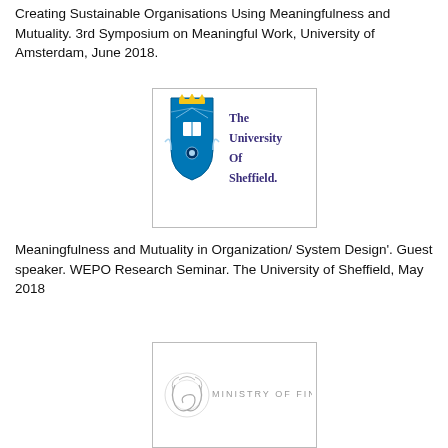Creating Sustainable Organisations Using Meaningfulness and Mutuality. 3rd Symposium on Meaningful Work, University of Amsterdam, June 2018.
[Figure (logo): The University of Sheffield logo — blue shield crest with crown and open book, with text 'The University Of Sheffield.' in blue serif font]
Meaningfulness and Mutuality in Organization/ System Design'. Guest speaker. WEPO Research Seminar. The University of Sheffield, May 2018
[Figure (logo): Ministry of Finance logo — decorative grey emblem on left with text 'MINISTRY OF FINANCE' in grey spaced lettering]